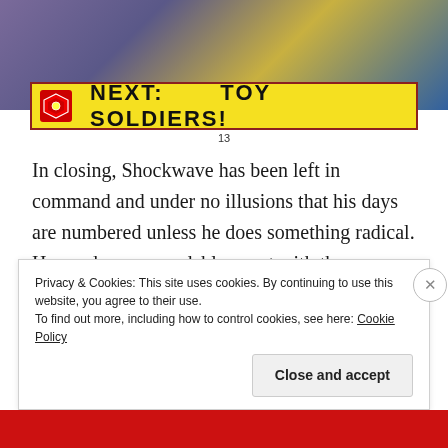[Figure (illustration): Comic book panel showing characters at top, with a yellow banner reading NEXT: TOY SOLDIERS! and page number 13]
In closing, Shockwave has been left in command and under no illusions that his days are numbered unless he does something radical. He needs an expendable agent with the raw power enough to take down Galvatron – his choice is an intriguing one… none other than Megatron, Galvatron's past self. This thread plays out further in the upcoming story Salvage and then comes to a head in the 1988 Transformers Annual. Lots to look forward to!
Privacy & Cookies: This site uses cookies. By continuing to use this website, you agree to their use.
To find out more, including how to control cookies, see here: Cookie Policy
Close and accept